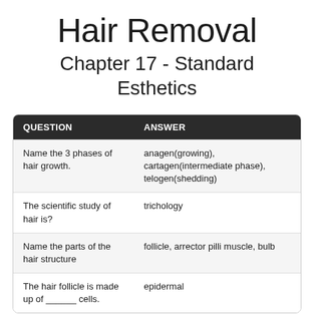Hair Removal
Chapter 17 - Standard Esthetics
| QUESTION | ANSWER |
| --- | --- |
| Name the 3 phases of hair growth. | anagen(growing), cartagen(intermediate phase), telogen(shedding) |
| The scientific study of hair is? | trichology |
| Name the parts of the hair structure | follicle, arrector pilli muscle, bulb |
| The hair follicle is made up of ______ cells. | epidermal |